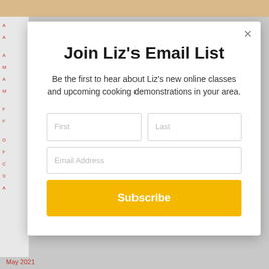[Figure (screenshot): Website screenshot background with photo strip at top and sidebar navigation on the left]
Join Liz's Email List
Be the first to hear about Liz's new online classes and upcoming cooking demonstrations in your area.
First | Last | Email Address | Subscribe